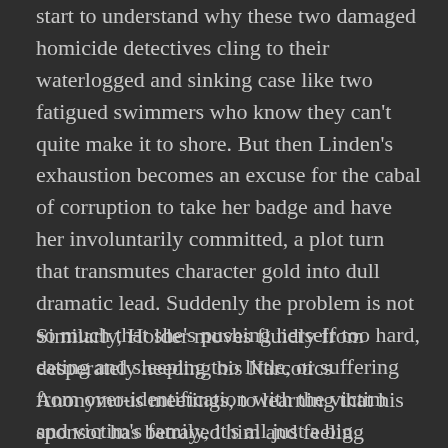start to understand why these two damaged homicide detectives cling to their waterlogged and sinking case like two fatigued swimmers who know they can't quite make it to shore. But then Linden's exhaustion becomes an excuse for the cabal of corruption to take her badge and have her involuntarily committed, a plot turn that transmutes character gold into dull dramatic lead. Suddenly the problem is not so much that she's pushing herself too hard, eating and sleeping too little, or suffering from over-identification with the victim and victim's family, it's all just a big conspiracy to keep her from solving the crime. She's fine once they can bust her out of the psych ward.
Similarly, Holder moves fluidly from desperately needing his Narcotics Anonymous meetings, to learning that his sponsor has betrayed him and feeling desperate enough that he steals drugs from a former underworld contact and hooks up with another addict from his